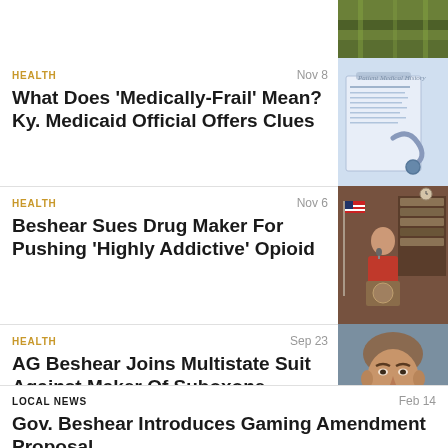[Figure (photo): Sports field / grass aerial view at top right]
HEALTH
Nov 8
What Does 'Medically-Frail' Mean? Ky. Medicaid Official Offers Clues
[Figure (photo): Patient medical history document with stethoscope]
HEALTH
Nov 6
Beshear Sues Drug Maker For Pushing 'Highly Addictive' Opioid
[Figure (photo): Man speaking at podium with American flag in wood-paneled room]
HEALTH
Sep 23
AG Beshear Joins Multistate Suit Against Maker Of Suboxone
[Figure (photo): Close-up of man speaking into microphone]
LOCAL NEWS
Feb 14
Gov. Beshear Introduces Gaming Amendment Proposal